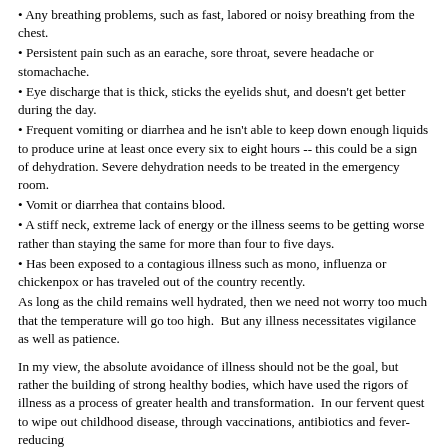Any breathing problems, such as fast, labored or noisy breathing from the chest.
Persistent pain such as an earache, sore throat, severe headache or stomachache.
Eye discharge that is thick, sticks the eyelids shut, and doesn't get better during the day.
Frequent vomiting or diarrhea and he isn't able to keep down enough liquids to produce urine at least once every six to eight hours -- this could be a sign of dehydration. Severe dehydration needs to be treated in the emergency room.
Vomit or diarrhea that contains blood.
A stiff neck, extreme lack of energy or the illness seems to be getting worse rather than staying the same for more than four to five days.
Has been exposed to a contagious illness such as mono, influenza or chickenpox or has traveled out of the country recently.
As long as the child remains well hydrated, then we need not worry too much that the temperature will go too high.  But any illness necessitates vigilance as well as patience.
In my view, the absolute avoidance of illness should not be the goal, but rather the building of strong healthy bodies, which have used the rigors of illness as a process of greater health and transformation.  In our fervent quest to wipe out childhood disease, through vaccinations, antibiotics and fever-reducing